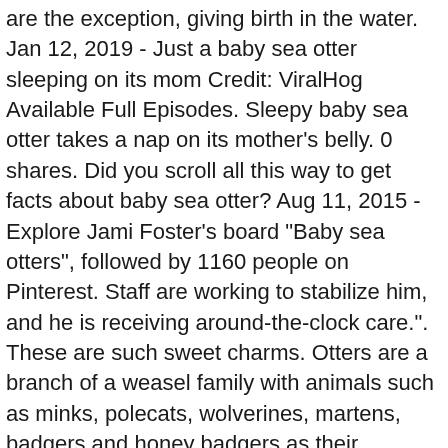are the exception, giving birth in the water. Jan 12, 2019 - Just a baby sea otter sleeping on its mom Credit: ViralHog Available Full Episodes. Sleepy baby sea otter takes a nap on its mother's belly. 0 shares. Did you scroll all this way to get facts about baby sea otter? Aug 11, 2015 - Explore Jami Foster's board "Baby sea otters", followed by 1160 people on Pinterest. Staff are working to stabilize him, and he is receiving around-the-clock care.". These are such sweet charms. Otters are a branch of a weasel family with animals such as minks, polecats, wolverines, martens, badgers and honey badgers as their relatives. mother and baby sea otter--sea otter pup--in elkhorn slough, monterey, california - baby otter stock pictures, royalty-free photos & images Four hand-fed asian small-clawed otters babies runs in the grounds of the Singapore Zoo on May 30, 2017. Jul 4, 2019 - Explore sally fahm's board "Baby sea otters" on Pinterest. And as of this moment, he is playing around in a ... Well you're in luck, because here they come. Named Joey, ... Give a sea otter gift package. The team welcomes two rescued sea otter pups